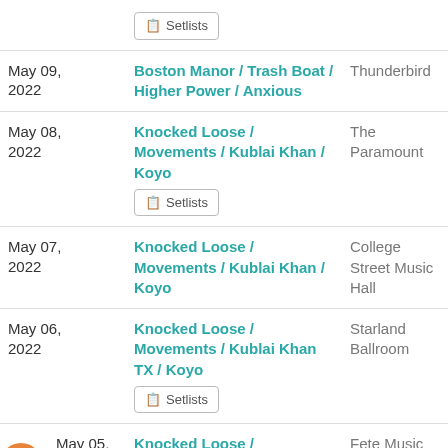| Date | Artists | Venue |
| --- | --- | --- |
|  | Setlists |  |
| May 09, 2022 | Boston Manor / Trash Boat / Higher Power / Anxious | Thunderbird |
| May 08, 2022 | Knocked Loose / Movements / Kublai Khan / Koyo
Setlists | The Paramount |
| May 07, 2022 | Knocked Loose / Movements / Kublai Khan / Koyo | College Street Music Hall |
| May 06, 2022 | Knocked Loose / Movements / Kublai Khan TX / Koyo
Setlists | Starland Ballroom |
| May 05, 2022 | Knocked Loose / Movements / Kublai... | Fete Music Hall |